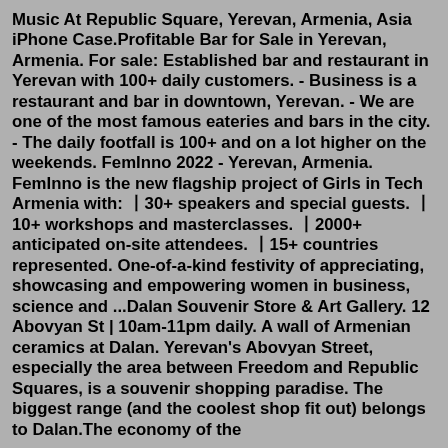Music At Republic Square, Yerevan, Armenia, Asia iPhone Case.Profitable Bar for Sale in Yerevan, Armenia. For sale: Established bar and restaurant in Yerevan with 100+ daily customers. - Business is a restaurant and bar in downtown, Yerevan. - We are one of the most famous eateries and bars in the city. - The daily footfall is 100+ and on a lot higher on the weekends. FemInno 2022 - Yerevan, Armenia. FemInno is the new flagship project of Girls in Tech Armenia with: 〡30+ speakers and special guests. 〡10+ workshops and masterclasses. 〡2000+ anticipated on-site attendees. 〡15+ countries represented. One-of-a-kind festivity of appreciating, showcasing and empowering women in business, science and ...Dalan Souvenir Store & Art Gallery. 12 Abovyan St | 10am-11pm daily. A wall of Armenian ceramics at Dalan. Yerevan's Abovyan Street, especially the area between Freedom and Republic Squares, is a souvenir shopping paradise. The biggest range (and the coolest shop fit out) belongs to Dalan.The economy of the